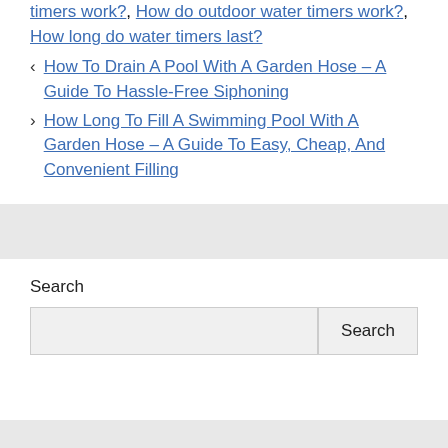timers work?, How do outdoor water timers work?, How long do water timers last?
< How To Drain A Pool With A Garden Hose – A Guide To Hassle-Free Siphoning
> How Long To Fill A Swimming Pool With A Garden Hose – A Guide To Easy, Cheap, And Convenient Filling
Search
Search (button)